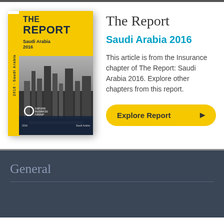[Figure (illustration): Book cover of 'The Report: Saudi Arabia 2016' published by Oxford Business Group, showing a cityscape photo in black and white with yellow branding elements]
The Report
Saudi Arabia 2016
This article is from the Insurance chapter of The Report: Saudi Arabia 2016. Explore other chapters from this report.
Explore Report ▶
General